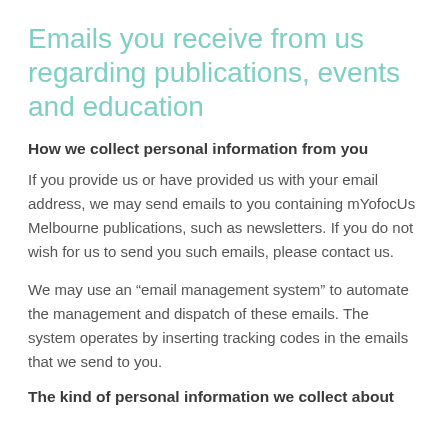Emails you receive from us regarding publications, events and education
How we collect personal information from you
If you provide us or have provided us with your email address, we may send emails to you containing mYofocUs Melbourne publications, such as newsletters. If you do not wish for us to send you such emails, please contact us.
We may use an “email management system” to automate the management and dispatch of these emails. The system operates by inserting tracking codes in the emails that we send to you.
The kind of personal information we collect about